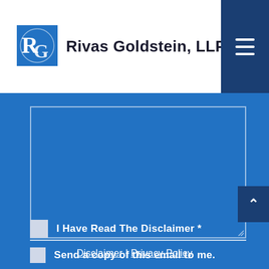Rivas Goldstein, LLP
[Figure (logo): RG logo mark — blue square with stylized R and G letters in white]
Disclaimer | Privacy Policy
I Have Read The Disclaimer *
Send a copy of this email to me.